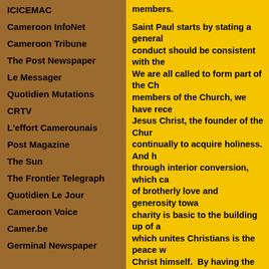ICICEMAC
Cameroon InfoNet
Cameroon Tribune
The Post Newspaper
Le Messager
Quotidien Mutations
CRTV
L'effort Camerounais
Post Magazine
The Sun
The Frontier Telegraph
Quotidien Le Jour
Cameroon Voice
Camer.be
Germinal Newspaper
members.

Saint Paul starts by stating a general conduct should be consistent with the We are all called to form part of the Ch members of the Church, we have rece Jesus Christ, the founder of the Chur continually to acquire holiness. And h through interior conversion, which ca of brotherly love and generosity towa charity is basic to the building up of a which unites Christians is the peace w Christ himself.  By having the same fa brought together in the Church – old a child, husband and wife, people of ev in Christ. As Saint John Chrysostom s restrict us, which unites us closely to us: it expands our heart and gives us we were unattached. He who is strong him and prevent him from falling and

What lesson do I draw from this readi words of Matthew, the evangelist, whe faith; and so, if a person refuses to lis